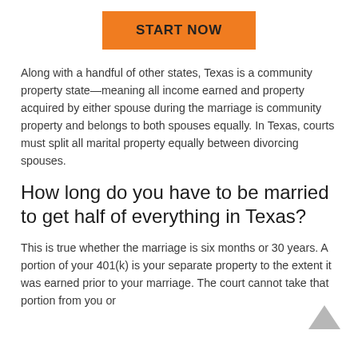[Figure (other): Orange 'START NOW' button]
Along with a handful of other states, Texas is a community property state—meaning all income earned and property acquired by either spouse during the marriage is community property and belongs to both spouses equally. In Texas, courts must split all marital property equally between divorcing spouses.
How long do you have to be married to get half of everything in Texas?
This is true whether the marriage is six months or 30 years. A portion of your 401(k) is your separate property to the extent it was earned prior to your marriage. The court cannot take that portion from you or